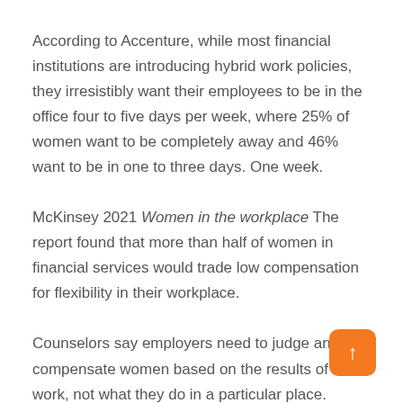According to Accenture, while most financial institutions are introducing hybrid work policies, they irresistibly want their employees to be in the office four to five days per week, where 25% of women want to be completely away and 46% want to be in one to three days. One week.
McKinsey 2021 Women in the workplace The report found that more than half of women in financial services would trade low compensation for flexibility in their workplace.
Counselors say employers need to judge and compensate women based on the results of the work, not what they do in a particular place.